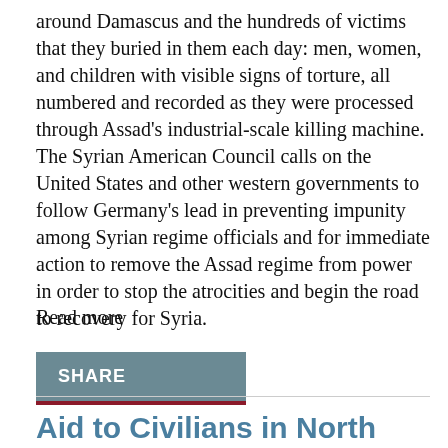around Damascus and the hundreds of victims that they buried in them each day: men, women, and children with visible signs of torture, all numbered and recorded as they were processed through Assad's industrial-scale killing machine. The Syrian American Council calls on the United States and other western governments to follow Germany's lead in preventing impunity among Syrian regime officials and for immediate action to remove the Assad regime from power in order to stop the atrocities and begin the road to recovery for Syria.
Read more
[Figure (other): SHARE button — a steel-blue rectangle with white bold text 'SHARE' and a dark red underline bar below]
Aid to Civilians in North Syria Must